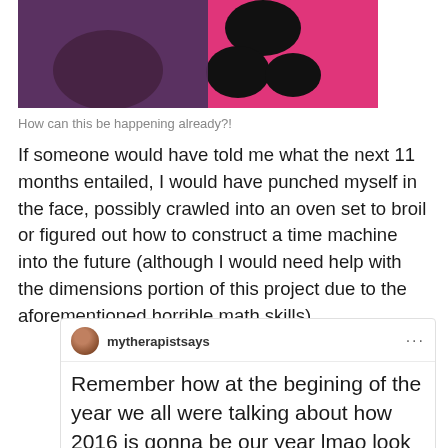[Figure (photo): Cropped photo showing two people, one wearing a pink patterned outfit with dark blobs/spots against bright pink background]
How can this be happening already?!
If someone would have told me what the next 11 months entailed, I would have punched myself in the face, possibly crawled into an oven set to broil or figured out how to construct a time machine into the future (although I would need help with the dimensions portion of this project due to the aforementioned horrible math skills).
mytherapistsays ... Remember how at the begining of the year we all were talking about how 2016 is gonna be our year lmao look at us now